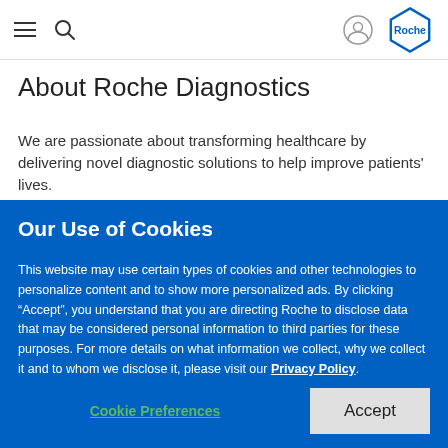Navigation bar with hamburger menu, search, user icon, and Roche logo
About Roche Diagnostics
We are passionate about transforming healthcare by delivering novel diagnostic solutions to help improve patients' lives.
Our Use of Cookies
This website may use certain types of cookies and other technologies to personalize content and to show more personalized ads. By clicking “Accept”, you understand that you are directing Roche to disclose data that may be considered personal information to third parties for these purposes. For more details on what information we collect, why we collect it and to whom we disclose it, please visit our Privacy Policy.
Cookie Preferences | Accept